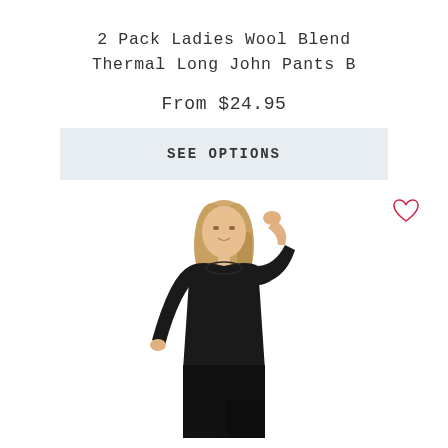2 Pack Ladies Wool Blend Thermal Long John Pants B
From $24.95
SEE OPTIONS
[Figure (photo): Woman wearing black thermal long john pants and top, posing with one hand raised to her head, blonde hair, white background]